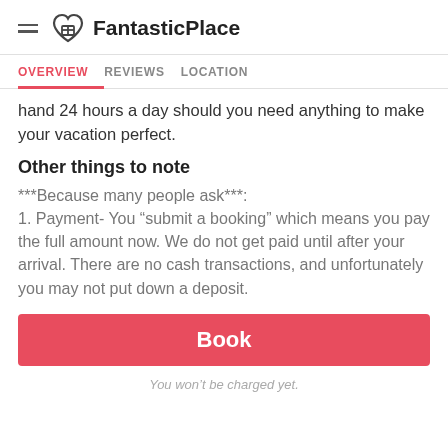FantasticPlace
OVERVIEW   REVIEWS   LOCATION
hand 24 hours a day should you need anything to make your vacation perfect.
Other things to note
***Because many people ask***: 1. Payment- You “submit a booking” which means you pay the full amount now. We do not get paid until after your arrival. There are no cash transactions, and unfortunately you may not put down a deposit.
[Figure (other): Red Book button]
You won’t be charged yet.